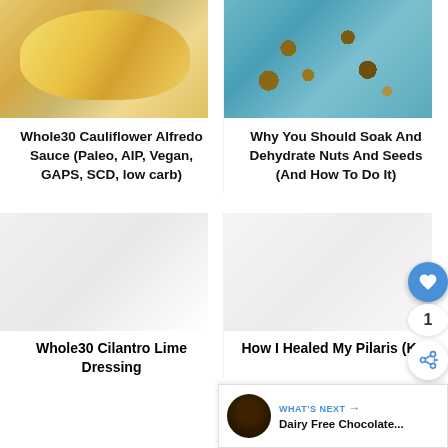[Figure (photo): Food photo of Whole30 Cauliflower Alfredo Sauce dish in yellow/golden tones]
[Figure (photo): Photo of nuts and seeds on teal/blue background]
Whole30 Cauliflower Alfredo Sauce (Paleo, AIP, Vegan, GAPS, SCD, low carb)
Why You Should Soak And Dehydrate Nuts And Seeds (And How To Do It)
[Figure (photo): Whole30 Cilantro Lime Dressing - mostly white/blank section]
[Figure (photo): How I Healed My Pilaris (KP) - mostly white/blank section]
Whole30 Cilantro Lime Dressing
How I Healed My Pilaris (KP)
WHAT'S NEXT → Dairy Free Chocolate...
1